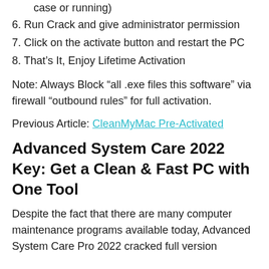case or running)
6. Run Crack and give administrator permission
7. Click on the activate button and restart the PC
8. That’s It, Enjoy Lifetime Activation
Note: Always Block “all .exe files this software” via firewall “outbound rules” for full activation.
Previous Article: CleanMyMac Pre-Activated
Advanced System Care 2022 Key: Get a Clean & Fast PC with One Tool
Despite the fact that there are many computer maintenance programs available today, Advanced System Care Pro 2022 cracked full version